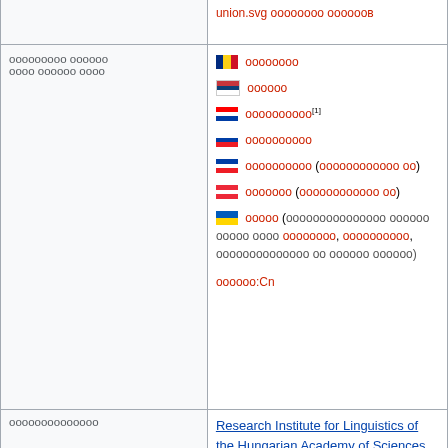| Label | Value |
| --- | --- |
| ооооооооо оооооо оооо оооооо оооо | 🇷🇴 оооооооо
🇷🇸 оооооо
🇭🇷 оооооооооо[1]
🇸🇰 оооооооооо
🇸🇮 оооооооооо (оооооооооооо оо)
🇦🇹 ооооооо (оооооооооооо оо)
🇺🇦 ооооо (ооооооооооооооо оооооо ооооо оооо оооооооо, оооооооооо, оооооооооооооо оо оооооо оооооо)
оооооо:Cn |
| оооооооооооооо | Research Institute for Linguistics of the Hungarian Academy of Sciences |
| оооооо ооо |  |
|  |  |